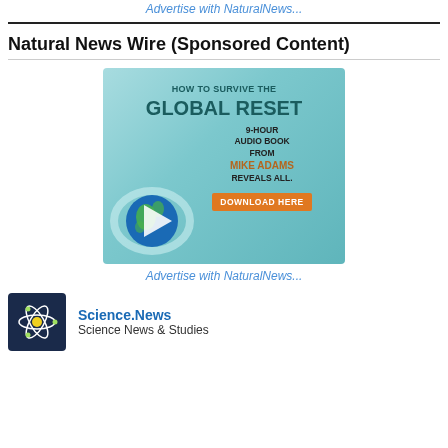Advertise with NaturalNews...
Natural News Wire (Sponsored Content)
[Figure (illustration): Advertisement banner for 'How to Survive the Global Reset' 9-hour audio book by Mike Adams, featuring a globe and play button graphic on a teal background with a 'Download Here' button]
Advertise with NaturalNews...
[Figure (logo): Science.News atom logo icon on dark navy background]
Science.News
Science News & Studies